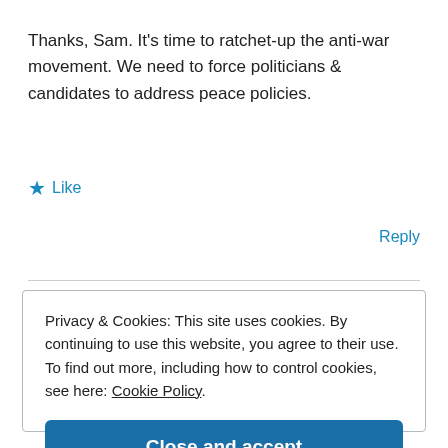Thanks, Sam. It's time to ratchet-up the anti-war movement. We need to force politicians & candidates to address peace policies.
★ Like
Reply
Privacy & Cookies: This site uses cookies. By continuing to use this website, you agree to their use. To find out more, including how to control cookies, see here: Cookie Policy.
Close and accept